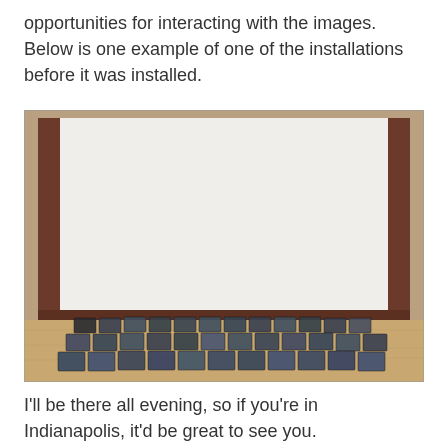opportunities for interacting with the images. Below is one example of one of the installations before it was installed.
[Figure (photo): An art installation photograph showing a large blank white wall framed by wooden pillars/trim, with rows of small framed photographs laid out in a grid pattern on the wooden floor in front of the wall.]
I'll be there all evening, so if you're in Indianapolis, it'd be great to see you.